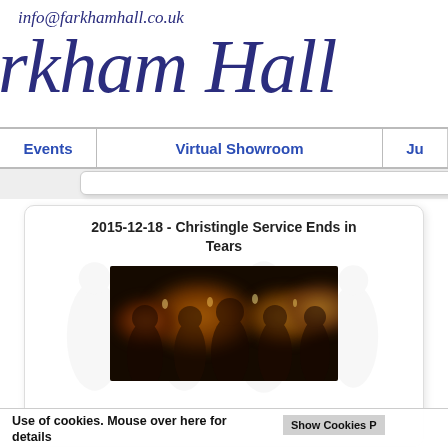info@farkhamhall.co.uk
rkham Hall
Events | Virtual Showroom | Ju
2015-12-18 - Christingle Service Ends in Tears
[Figure (photo): Children holding candles at a Christingle service, warm candlelight glow in dark setting]
Use of cookies. Mouse over here for details